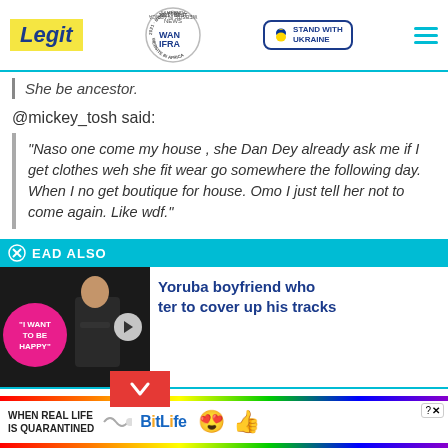Legit | WAN IFRA 2021 Best News Website in Africa | Stand with Ukraine
She be ancestor.
@mickey_tosh said:
"Naso one come my house , she Dan Dey already ask me if I get clothes weh she fit wear go somewhere the following day. When I no get boutique for house. Omo I just tell her not to come again. Like wdf."
READ ALSO
[Figure (screenshot): Thumbnail image with 'I WANT TO BE HAPPY' badge and couple photo, with play button overlay]
Yoruba boyfriend who ter to cover up his tracks
at with lady who
[Figure (screenshot): BitLife advertisement banner with rainbow border, text 'WHEN REAL LIFE IS QUARANTINED' and BitLife logo with emojis]